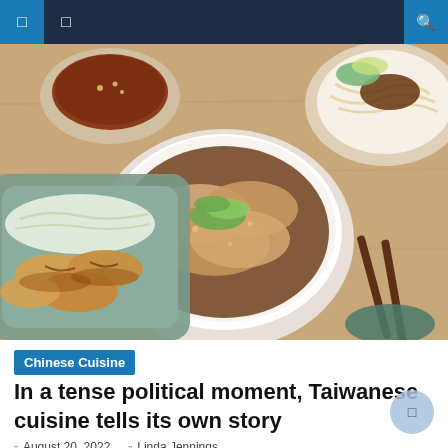Navigation bar with menu icons and search
[Figure (photo): Overhead view of Taiwanese food dishes on a wooden table: a bowl of dumplings in sauce with green garnish (center), a plate of pan-fried dumplings with shredded cabbage (left), a bowl of noodles with minced meat (upper right), a bowl of dipping sauce (upper left), and chopsticks (right).]
Chinese Cuisine
In a tense political moment, Taiwanese cuisine tells its own story
August 20, 2022   Linda Jennings
In Good to Eat Dumplings' bustling open kitchen, chef Tony Tung prepares long, evenly stretched, generously stuffed Taiwanese dumplings. The bottoms are crisp and golden